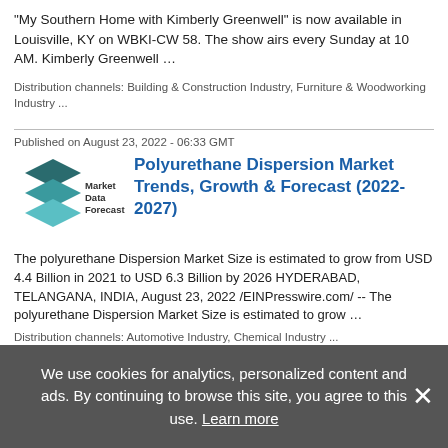"My Southern Home with Kimberly Greenwell" is now available in Louisville, KY on WBKI-CW 58. The show airs every Sunday at 10 AM. Kimberly Greenwell …
Distribution channels: Building & Construction Industry, Furniture & Woodworking Industry ...
Published on August 23, 2022 - 06:33 GMT
Polyurethane Dispersion Market Trends, Growth & Forecast (2022- 2027)
[Figure (logo): Market Data Forecast logo with stacked geometric shapes in teal/dark teal]
The polyurethane Dispersion Market Size is estimated to grow from USD 4.4 Billion in 2021 to USD 6.3 Billion by 2026 HYDERABAD, TELANGANA, INDIA, August 23, 2022 /EINPresswire.com/ -- The polyurethane Dispersion Market Size is estimated to grow …
Distribution channels: Automotive Industry, Chemical Industry ...
Published on August 22, 2022 - 12:09 GMT
A New Low in US Container Freight
[Figure (screenshot): Thumbnail chart image for A New Low in US Container Freight article]
We use cookies for analytics, personalized content and ads. By continuing to browse this site, you agree to this use. Learn more